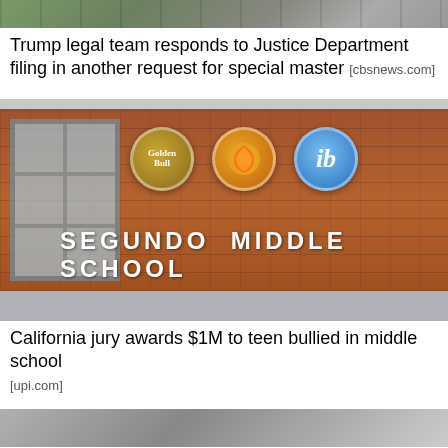[Figure (photo): Aerial view of a parking lot with cars and green areas]
Trump legal team responds to Justice Department filing in another request for special master [cbsnews.com]
[Figure (photo): Segundo Middle School building exterior with brick wall, school logos including Golden Bull, district seal, and IB logo, and school name text]
California jury awards $1M to teen bullied in middle school
[upi.com]
[Figure (photo): Partially visible image at bottom of page]